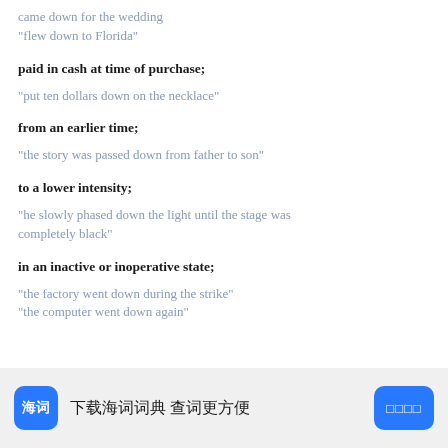came down for the wedding
"flew down to Florida"
paid in cash at time of purchase;
"put ten dollars down on the necklace"
from an earlier time;
"the story was passed down from father to son"
to a lower intensity;
"he slowly phased down the light until the stage was completely black"
in an inactive or inoperative state;
"the factory went down during the strike"
"the computer went down again"
下载海词词典 查词更方便